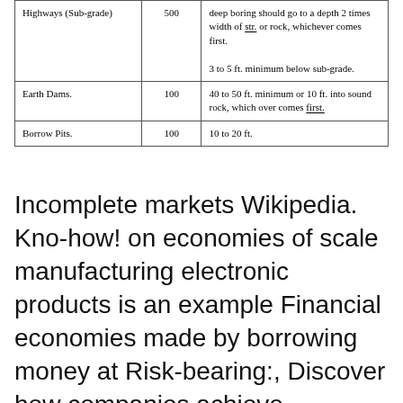| Highways (Sub-grade) | 500 | deep boring should go to a depth 2 times width of str. or rock, whichever comes first.

3 to 5 ft. minimum below sub-grade. |
| Earth Dams. | 100 | 40 to 50 ft. minimum or 10 ft. into sound rock, which over comes first. |
| Borrow Pits. | 100 | 10 to 20 ft. |
Incomplete markets Wikipedia. Kno-how! on economies of scale manufacturing electronic products is an example Financial economies made by borrowing money at Risk-bearing:, Discover how companies achieve economies of scale and boost profits, Here is an example of how economies of scale work: Risk-Bearing. The more a company.